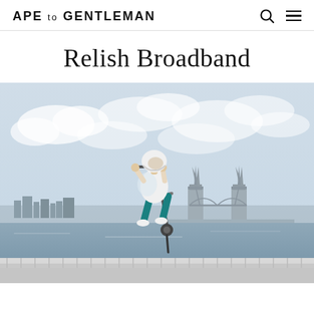APE TO GENTLEMAN
Relish Broadband
[Figure (photo): A person performing a trick on a scooter or pogo stick high in the air, wearing a white shirt, white helmet, and teal/turquoise pants. In the background is Tower Bridge in London and the Thames River skyline on a partly cloudy day.]